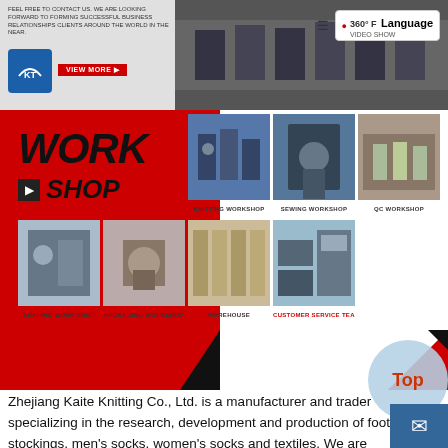[Figure (screenshot): Website header with company logo, navigation icons, 360° video show button, and Language selector overlay on factory photo background]
[Figure (infographic): Workshop section with red diagonal graphic design, WORK SHOP heading, and 7 workshop photos: Knitting Workshop, Sewing Workshop, QC Workshop, Shaping Work Shop, Packaging Workshop, Warehouse, Customer Service Team]
Zhejiang Kaite Knitting Co., Ltd. is a manufacturer and trader specializing in the research, development and production of football stockings, men's socks, women's socks and textiles. We are located in Zhuji City, Zhejiang Province, with convenient transportation access. All of our products comply with international quality standards and are greatly appreciated in a variety of different markets throughout the world.